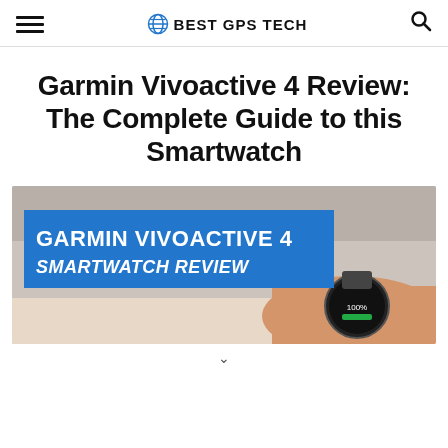BEST GPS TECH
Garmin Vivoactive 4 Review: The Complete Guide to this Smartwatch
[Figure (photo): Hero image showing a Garmin Vivoactive 4 smartwatch being worn on a wrist, with a blue banner overlay reading GARMIN VIVOACTIVE 4 SMARTWATCH REVIEW]